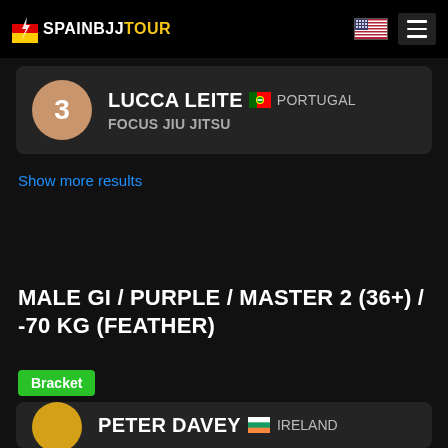SPAINBJJTOUR
3 LUCCA LEITE 🇵🇹 PORTUGAL FOCUS JIU JITSU
Show more results
MALE GI / PURPLE / MASTER 2 (36+) / -70 KG (FEATHER)
Bracket
PETER DAVEY 🇮🇪 IRELAND